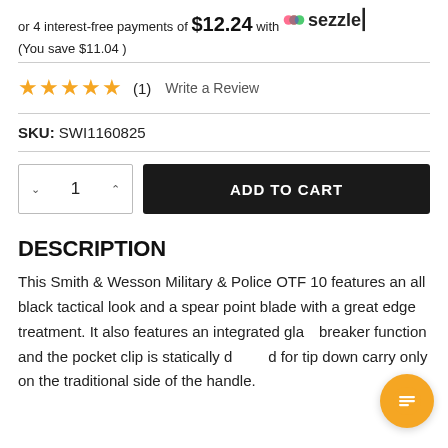or 4 interest-free payments of $12.24 with Sezzle
(You save $11.04 )
★★★★★ (1)   Write a Review
SKU: SWI1160825
ADD TO CART
DESCRIPTION
This Smith & Wesson Military & Police OTF 10 features an all black tactical look and a spear point blade with a great edge treatment. It also features an integrated glass breaker function and the pocket clip is statically designed for tip down carry only on the traditional side of the handle.